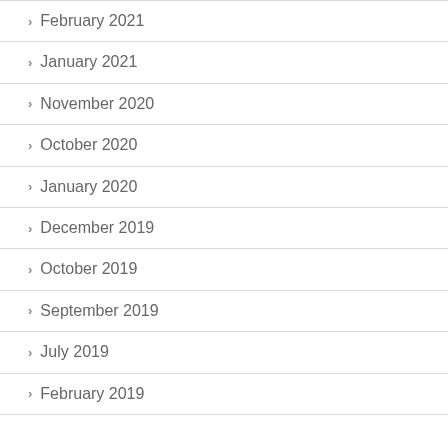February 2021
January 2021
November 2020
October 2020
January 2020
December 2019
October 2019
September 2019
July 2019
February 2019